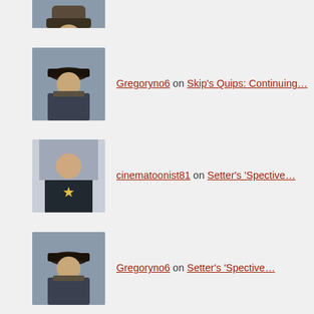[Figure (photo): Partial avatar of a person (Gregoryno6) cut off at top]
Gregoryno6 on Skip's Quips: Continuing…
cinematoonist81 on Setter's 'Spective…
Gregoryno6 on Setter's 'Spective…
cinematoonist81 on Setter's 'Spective…
Archives
Select Month
Categories
Select Category
Search